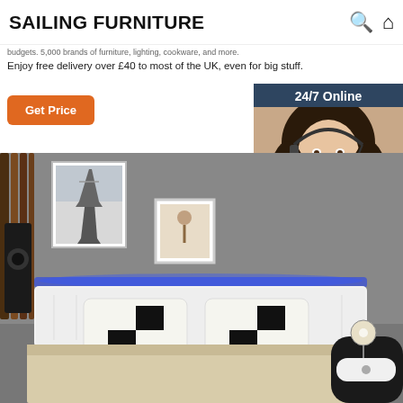SAILING FURNITURE
budgets. 5,000 brands of furniture, lighting, cookware, and more. Enjoy free delivery over £40 to most of the UK, even for big stuff.
[Figure (other): Orange 'Get Price' button]
[Figure (other): 24/7 Online chat widget with photo of customer service representative, 'Click here for free chat!' text, and orange QUOTATION button]
[Figure (photo): Modern bedroom with white leather bed with black and white checkered pillows, blue LED lighting behind headboard, gray wall with Eiffel Tower artwork and small framed picture, dark wood vertical panel on left, nightstand with lamp on right]